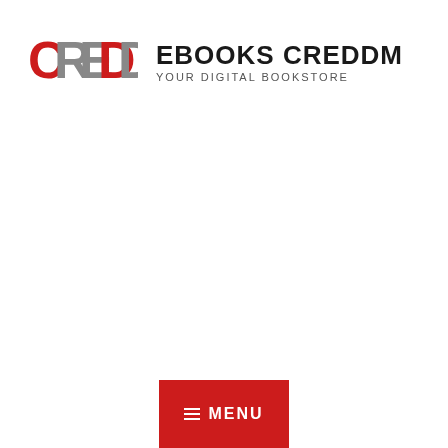[Figure (logo): CREDDM logo — stylized red and grey block letters spelling CREDDM]
EBOOKS CREDDM
YOUR DIGITAL BOOKSTORE
☰ MENU